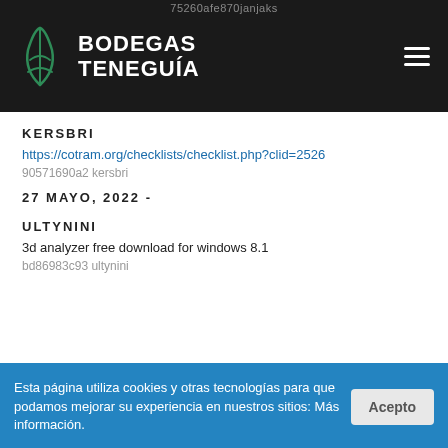75260afe870janjaks
[Figure (logo): Bodegas Teneguía logo: green stylized leaf/plant mark with white text BODEGAS TENEGUÍA on dark background header]
KERSBRI
https://cotram.org/checklists/checklist.php?clid=2526
90571690a2 kersbri
27 MAYO, 2022 -
ULTYNINI
3d analyzer free download for windows 8.1
bd86983c93 ultynini
Esta página utiliza cookies y otras tecnologías para que podamos mejorar su experiencia en nuestros sitios: Más información.